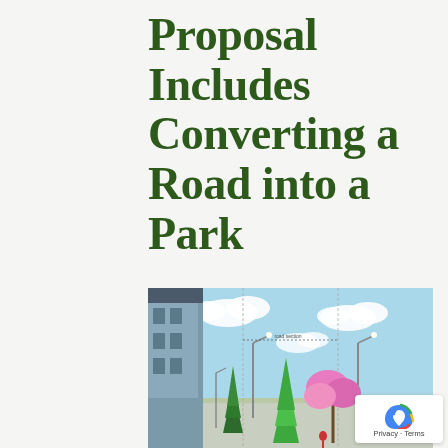Proposal Includes Converting a Road into a Park
[Figure (illustration): Street-level rendering showing a road converted into a park with tall evergreen trees, pink flowering trees, street lamps, a building facade on the left, and a blue sky with clouds in the background.]